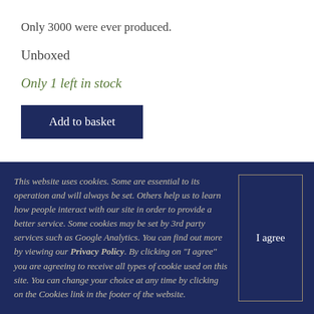Only 3000 were ever produced.
Unboxed
Only 1 left in stock
Add to basket
This website uses cookies. Some are essential to its operation and will always be set. Others help us to learn how people interact with our site in order to provide a better service. Some cookies may be set by 3rd party services such as Google Analytics. You can find out more by viewing our Privacy Policy. By clicking on "I agree" you are agreeing to receive all types of cookie used on this site. You can change your choice at any time by clicking on the Cookies link in the footer of the website.
I agree